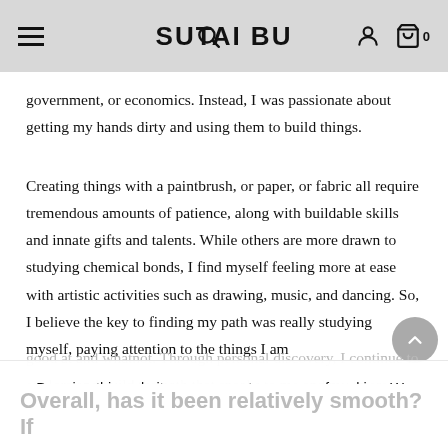SUTAI BU
government, or economics. Instead, I was passionate about getting my hands dirty and using them to build things.
Creating things with a paintbrush, or paper, or fabric all require tremendous amounts of patience, along with buildable skills and innate gifts and talents. While others are more drawn to studying chemical bonds, I find myself feeling more at ease with artistic activities such as drawing, music, and dancing. So, I believe the key to finding my path was really studying myself, paying attention to the things I am
good at and whatnot. Through personal discovery, I continue to explore and build the path that speaks to me and my interests. This is how Sutai Bu was born.
By using this website, you agree to our use of cookies. We use cookies to provide you with a great experience and to help our website run effectively.
OK
Overall, has it been relatively smooth? If